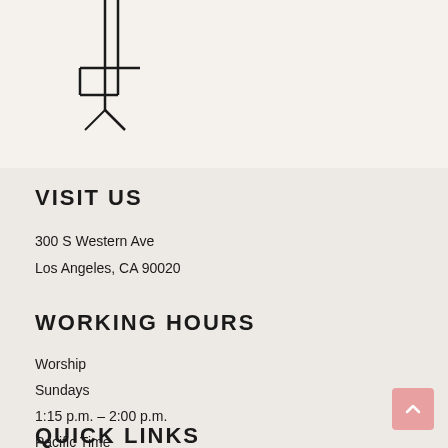[Figure (logo): Abstract geometric cross/arrow logo in black line art, pointing downward]
VISIT US
300 S Western Ave
Los Angeles, CA 90020
WORKING HOURS
Worship
Sundays
1:15 p.m. – 2:00 p.m.
Pacific Time
QUICK LINKS